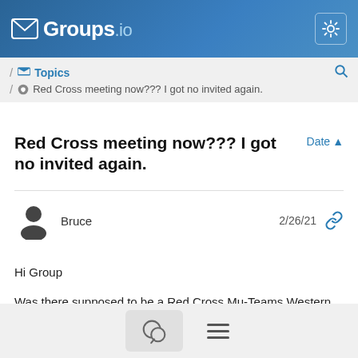[Figure (logo): Groups.io logo with envelope icon in top navigation bar]
Groups.io navigation bar with logo and settings gear icon
/ Topics / Red Cross meeting now??? I got no invited again.
Red Cross meeting now??? I got no invited again.
Date ▲
Bruce  2/26/21
Hi Group
Was there supposed to be a Red Cross Mu-Teams Western Division DST meeting on Thursday  2-25 at 1700?
Again, I have been left out of the loop for an invite.
Bottom navigation bar with message and menu icons